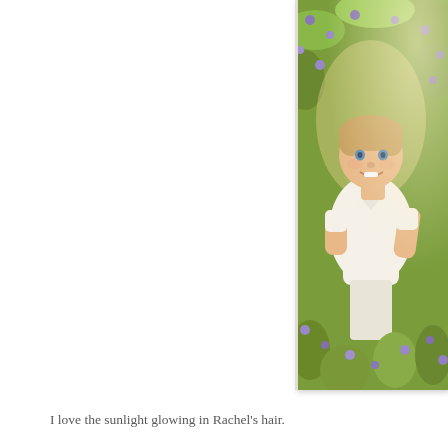[Figure (photo): A young boy with short blonde hair wearing a white polo shirt, standing in a field of purple wildflowers (bluebonnets) with green foliage. The sunlight creates a warm glow. The photo is positioned on the right side of the page.]
I love the sunlight glowing in Rachel's hair.